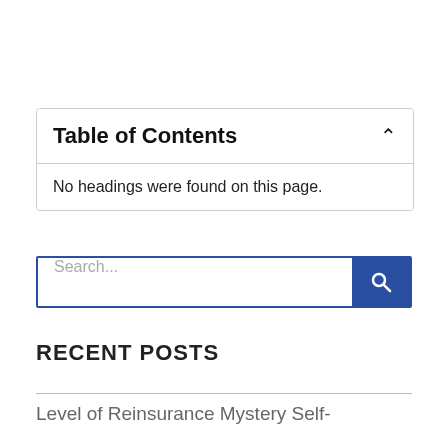Table of Contents
No headings were found on this page.
RECENT POSTS
Level of Reinsurance Mystery Self-